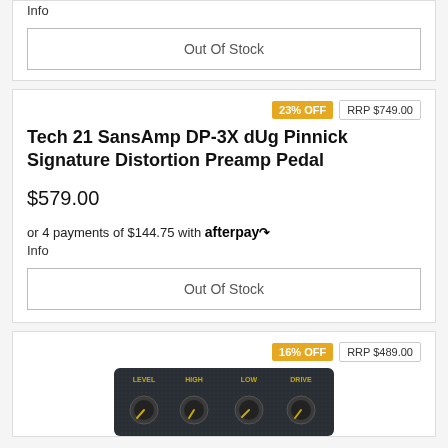Info
Out Of Stock
23% OFF  RRP $749.00
Tech 21 SansAmp DP-3X dUg Pinnick Signature Distortion Preamp Pedal
$579.00
or 4 payments of $144.75 with afterpay Info
Out Of Stock
16% OFF  RRP $489.00
[Figure (photo): Partial view of a guitar pedal with knobs labeled LEVEL, HIGH, LOW, DRIVE on a dark textured surface with yellow text/knobs]